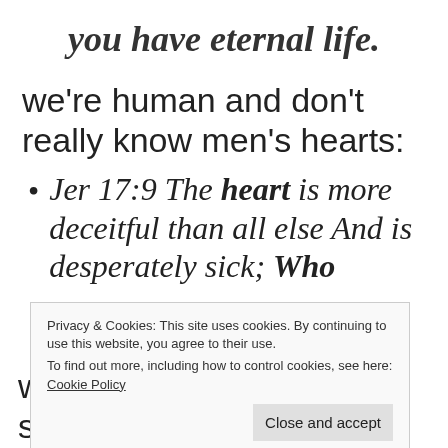you have eternal life.
we're human and don't really know men's hearts:
Jer 17:9 The heart is more deceitful than all else And is desperately sick; Who
Privacy & Cookies: This site uses cookies. By continuing to use this website, you agree to their use. To find out more, including how to control cookies, see here: Cookie Policy
we really don't know for sure that